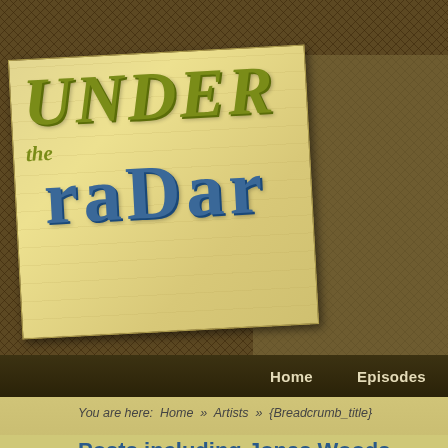[Figure (screenshot): Under the Radar website logo - decorative logo with 'UNDER the raDar' text in olive/yellow and blue on aged paper background]
Home   Episodes
You are here:  Home  »  Artists  »  {Breadcrumb_title}
Posts including Jonas Woods
Thanksgiving Special - Episode #330
posted: November 25th, 2015
In this episode, I agree with Joy Ike that Thanksgiving is one of the few non-commercial holidays left.  It's great to have this soul occasion where we can reflect on the blessings of God in our lives.  We... music!  This is the 5th time we've produced a Thanksgiving S...
Episode Artists: